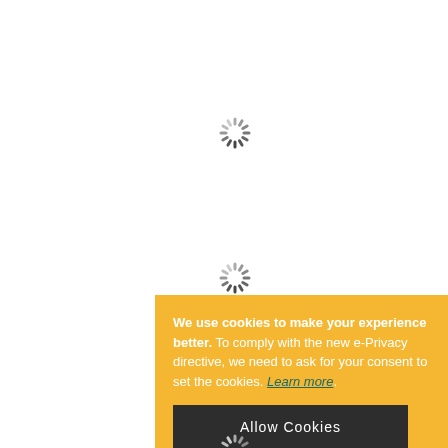[Figure (other): Loading spinner icon centered in upper portion of page]
[Figure (other): Loading spinner icon in middle portion of page]
We use cookies to make your experience better. To comply with the new e-Privacy directive, we need to ask for your consent to set the cookies. Learn more.
Allow Cookies
[Figure (other): Loading spinner icon partially visible at bottom of page]